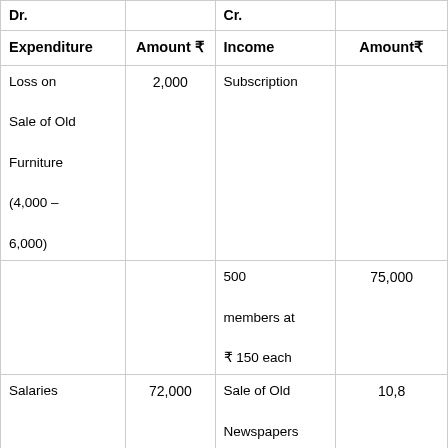| Expenditure | Amount ₹ | Income | Amount₹ |
| --- | --- | --- | --- |
| Loss on Sale of Old Furniture (4,000 – 6,000) | 2,000 | Subscription |  |
|  |  | 500 members at ₹ 150 each | 75,000 |
| Salaries | 72,000 | Sale of Old Newspapers | 10,8... |
| Add: Outstanding for 2015–16 | 1,200 | Profit from Entertainment | 44,0... |